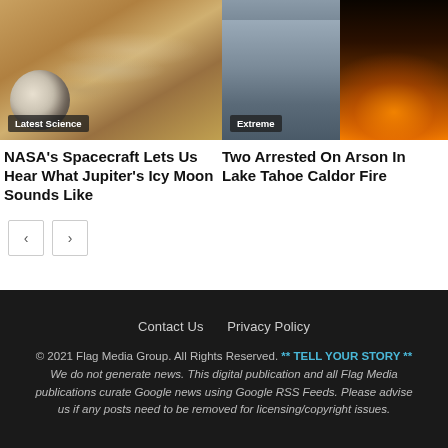[Figure (photo): Close-up photo of Jupiter's surface with swirling clouds and an icy moon in the foreground. Badge reading 'Latest Science'.]
[Figure (photo): Two photos side by side: left shows traffic jam on smoky highway; right shows wildfire with orange flames at night. Badge reading 'Extreme'.]
NASA's Spacecraft Lets Us Hear What Jupiter's Icy Moon Sounds Like
Two Arrested On Arson In Lake Tahoe Caldor Fire
Contact Us   Privacy Policy
© 2021 Flag Media Group. All Rights Reserved. ** TELL YOUR STORY **
We do not generate news. This digital publication and all Flag Media publications curate Google news using Google RSS Feeds. Please advise us if any posts need to be removed for licensing/copyright issues.